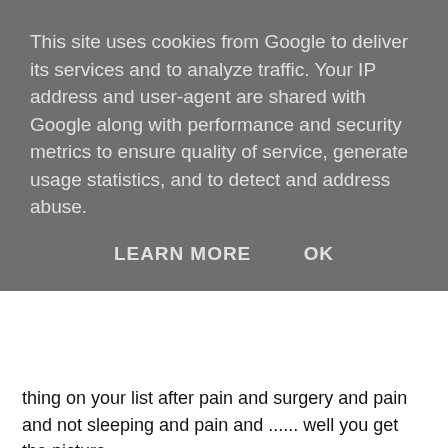This site uses cookies from Google to deliver its services and to analyze traffic. Your IP address and user-agent are shared with Google along with performance and security metrics to ensure quality of service, generate usage statistics, and to detect and address abuse.
LEARN MORE   OK
thing on your list after pain and surgery and pain and not sleeping and pain and ...... well you get the picture.
It doesn't sound like a big deal, I mean you see people on crutches all the time getting around. But they do take practice. And if you live somewhere with more than one storey you need to be able to get up and down the stairs. It's not that easy. Personally there was no way I was risking using the crutches on the stairs for the first few weeks, the thought of falling and re-injuring your foot is a huge and common concern. So I went back to pre-walking stage and bottom shuffled up and down the stairs! And what about a cup of tea, even if I could use the crutches to get to the kitchen and make the tea, there's no way I could carry it